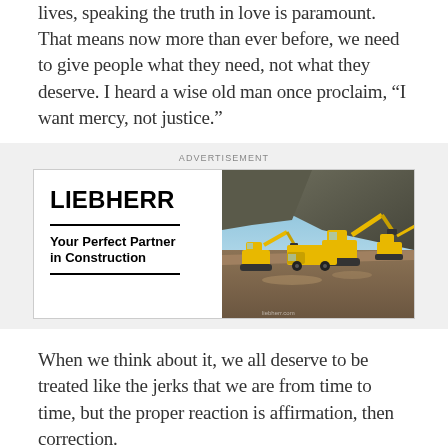lives, speaking the truth in love is paramount. That means now more than ever before, we need to give people what they need, not what they deserve. I heard a wise old man once proclaim, “I want mercy, not justice.”
[Figure (illustration): Advertisement for Liebherr construction equipment. Left side shows the Liebherr logo in bold black text with tagline 'Your Perfect Partner in Construction'. Right side shows a photo of multiple yellow Liebherr excavators and construction vehicles working at a quarry/construction site.]
When we think about it, we all deserve to be treated like the jerks that we are from time to time, but the proper reaction is affirmation, then correction. I would bet that the people who work for your company are some of the finest people in your area